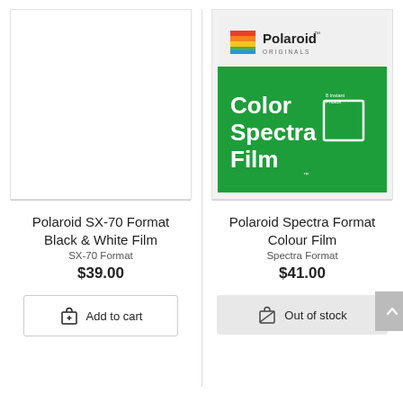[Figure (photo): Empty white product image placeholder for Polaroid SX-70 Format Black & White Film]
Polaroid SX-70 Format Black & White Film
SX-70 Format
$39.00
Add to cart
[Figure (photo): Polaroid Originals Color Spectra Film product box — green box with white text, Polaroid Originals logo at top with rainbow stripes]
Polaroid Spectra Format Colour Film
Spectra Format
$41.00
Out of stock